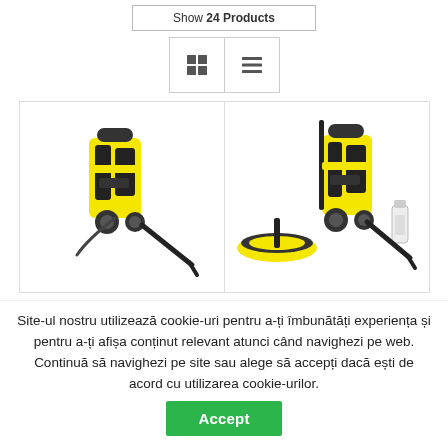Show 24 Products
[Figure (screenshot): Grid and list view toggle buttons]
[Figure (photo): Karcher pressure washer yellow and black with lance accessory]
[Figure (photo): Karcher pressure washer yellow and black with surface cleaner, lance, and cleaning solution accessories]
Site-ul nostru utilizează cookie-uri pentru a-ți îmbunătăți experiența și pentru a-ți afișa conținut relevant atunci când navighezi pe web. Continuă să navighezi pe site sau alege să accepți dacă ești de acord cu utilizarea cookie-urilor.
Accept